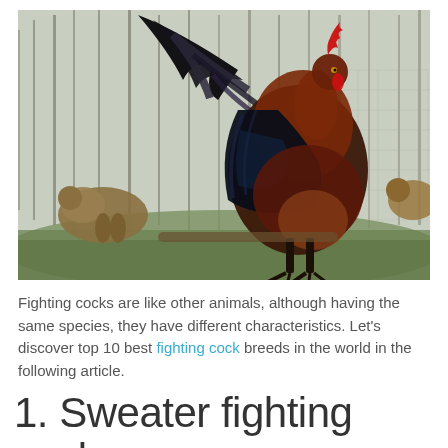[Figure (photo): A large rooster with dark iridescent black, blue, and reddish-brown plumage standing tall outdoors, with smaller brown hens nearby, bare trees and wire fencing in the background, on grass.]
Fighting cocks are like other animals, although having the same species, they have different characteristics. Let's discover top 10 best fighting cock breeds in the world in the following article.
1. Sweater fighting cock